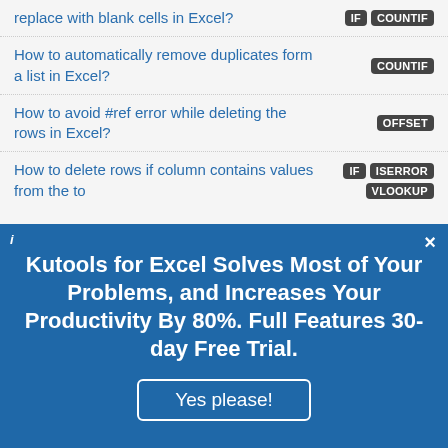replace with blank cells in Excel?
How to automatically remove duplicates form a list in Excel?
How to avoid #ref error while deleting the rows in Excel?
How to delete rows if column contains values from the to another list in Excel?
Kutools for Excel Solves Most of Your Problems, and Increases Your Productivity By 80%. Full Features 30-day Free Trial.
Yes please!